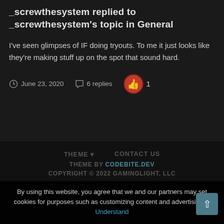_screwthesystem replied to _screwthesystem's topic in General
I've seen glimpses of IF doing tryouts. To me it just looks like they're making stuff up on the spot that sound hard.
June 23, 2020   6 replies   👍 1
THEME ▾   CONTACT US
THEME BY CODEBITE.DEV
COPYRIGHT © 2022 GAMINGLIGHT, LLC
By using this website, you agree that we and our partners may set cookies for purposes such as customizing content and advertising.  I Understand